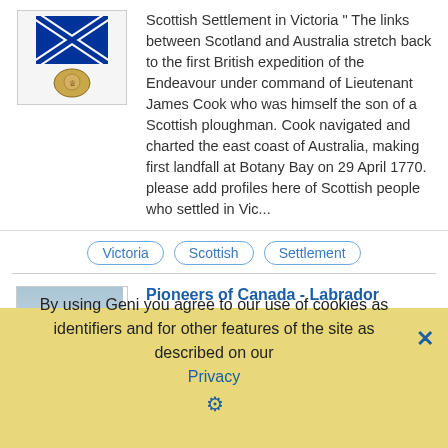Scottish Settlement in Victoria " The links between Scotland and Australia stretch back to the first British expedition of the Endeavour under command of Lieutenant James Cook who was himself the son of a Scottish ploughman. Cook navigated and charted the east coast of Australia, making first landfall at Botany Bay on 29 April 1770. please add profiles here of Scottish people who settled in Vic...
Victoria
Scottish
Settlement
Pioneers of Canada - Labrador
Pioneers of Canada - Labrador ==History=The Labrador coast has been occupied for a very long time. Evidence of Maritime Archaic Native occupation, dating back at least 7000 years, has been found at L'ANSE AMOUR BURIAL SITE in the south. Labrador was likely the "Markland" of the Viking sagas, which described the anomalous silvery beaches near Groswater Bay. BASQUE
By using Geni you agree to our use of cookies as identifiers and for other features of the site as described on our Privacy page.